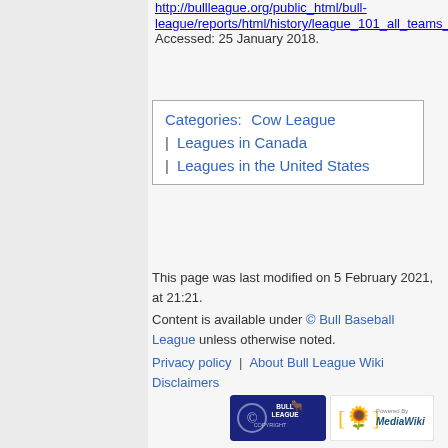http://bullleague.org/public_html/bull-league/reports/html/history/league_101_all_teams_index.html. Accessed: 25 January 2018.
Categories: Cow League | Leagues in Canada | Leagues in the United States
This page was last modified on 5 February 2021, at 21:21.
Content is available under © Bull Baseball League unless otherwise noted.
Privacy policy | About Bull League Wiki | Disclaimers